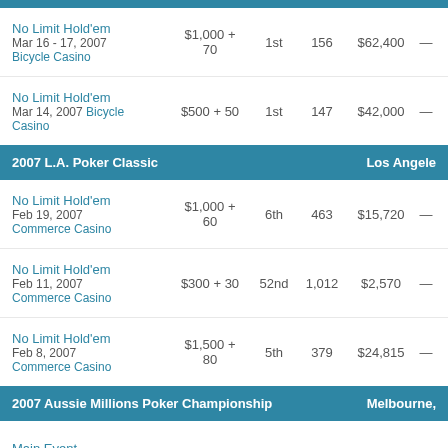| Event | Buy-in | Place | Entries | Prize |  |
| --- | --- | --- | --- | --- | --- |
| No Limit Hold'em
Mar 16 - 17, 2007
Bicycle Casino | $1,000 + 70 | 1st | 156 | $62,400 | — |
| No Limit Hold'em
Mar 14, 2007 Bicycle Casino | $500 + 50 | 1st | 147 | $42,000 | — |
2007 L.A. Poker Classic   Los Angeles
| Event | Buy-in | Place | Entries | Prize |  |
| --- | --- | --- | --- | --- | --- |
| No Limit Hold'em
Feb 19, 2007
Commerce Casino | $1,000 + 60 | 6th | 463 | $15,720 | — |
| No Limit Hold'em
Feb 11, 2007
Commerce Casino | $300 + 30 | 52nd | 1,012 | $2,570 | — |
| No Limit Hold'em
Feb 8, 2007
Commerce Casino | $1,500 + 80 | 5th | 379 | $24,815 | — |
2007 Aussie Millions Poker Championship   Melbourne,
| Event | Buy-in | Place | Entries | Prize |  |
| --- | --- | --- | --- | --- | --- |
| Main Event
Jan 14 - 19, 2007 | AU$10,000 | 49th | 747 | AU$29,000 |  |